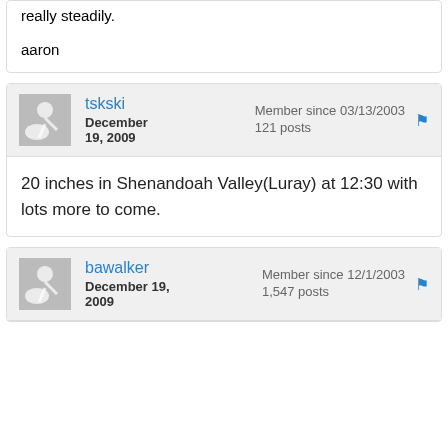really steadily.

aaron
tskski
December 19, 2009
Member since 03/13/2003
121 posts
20 inches in Shenandoah Valley(Luray) at 12:30 with lots more to come.
bawalker
December 19, 2009
Member since 12/1/2003
1,547 posts